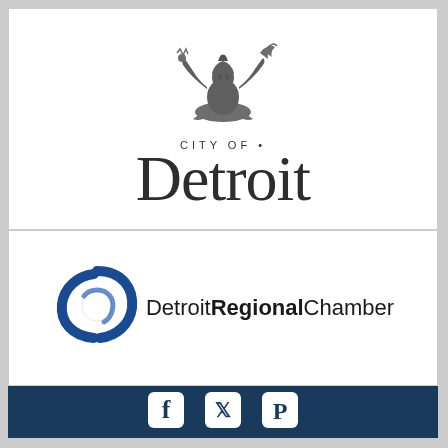[Figure (logo): City of Detroit official logo with Spirit of Detroit figure above stylized text reading CITY OF Detroit]
[Figure (logo): Detroit Regional Chamber logo with blue circular swoosh icon and text Detroit Regional Chamber]
[Figure (infographic): Footer bar with social media icons: Facebook, Twitter, Pinterest on dark navy background]